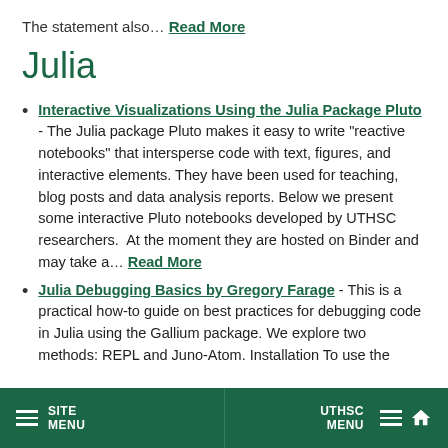The statement also… Read More
Julia
Interactive Visualizations Using the Julia Package Pluto - The Julia package Pluto makes it easy to write “reactive notebooks” that intersperse code with text, figures, and interactive elements. They have been used for teaching, blog posts and data analysis reports. Below we present some interactive Pluto notebooks developed by UTHSC researchers.  At the moment they are hosted on Binder and may take a… Read More
Julia Debugging Basics by Gregory Farage - This is a practical how-to guide on best practices for debugging code in Julia using the Gallium package. We explore two methods: REPL and Juno-Atom. Installation To use the
SITE MENU | UTHSC MENU